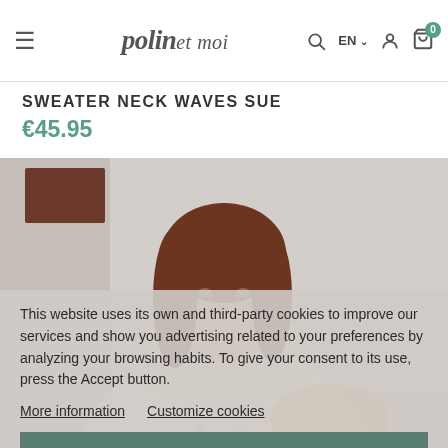polin et moi — EN — navigation icons
SWEATER NECK WAVES SUE
€45.95
[Figure (photo): Woman with brown hair wearing a floral/knit sweater, photographed from the shoulders up, sitting against a light neutral background.]
This website uses its own and third-party cookies to improve our services and show you advertising related to your preferences by analyzing your browsing habits. To give your consent to its use, press the Accept button.
More information  Customize cookies
I ACCEPT